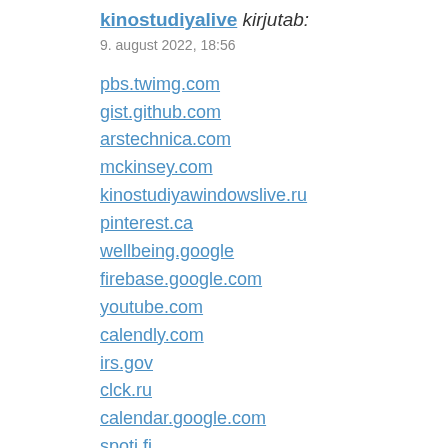kinostudiyalive kirjutab:
9. august 2022, 18:56
pbs.twimg.com
gist.github.com
arstechnica.com
mckinsey.com
kinostudiyawindowslive.ru
pinterest.ca
wellbeing.google
firebase.google.com
youtube.com
calendly.com
irs.gov
clck.ru
calendar.google.com
spoti.fi
amazon.de
bitbucket.org